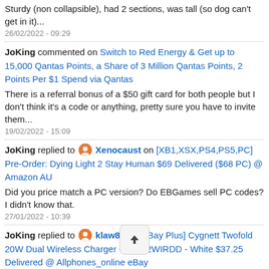Sturdy (non collapsible), had 2 sections, was tall (so dog can't get in it)...
26/02/2022 - 09:29
JoKing commented on Switch to Red Energy & Get up to 15,000 Qantas Points, a Share of 3 Million Qantas Points, 2 Points Per $1 Spend via Qantas
There is a referral bonus of a $50 gift card for both people but I don't think it's a code or anything, pretty sure you have to invite them...
19/02/2022 - 15:09
JoKing replied to Xenocaust on [XB1,XSX,PS4,PS5,PC] Pre-Order: Dying Light 2 Stay Human $69 Delivered ($68 PC) @ Amazon AU
Did you price match a PC version? Do EBGames sell PC codes? I didn't know that.
27/01/2022 - 10:39
JoKing replied to klaw81 on [eBay Plus] Cygnett Twofold 20W Dual Wireless Charger CY2662WIRDD - White $37.25 Delivered @ Allphones_online eBay
Thank you for the detailed rep... appreciate it. Seems odd that theyre limited to 3-4mm thick. I wonder if they will get better in